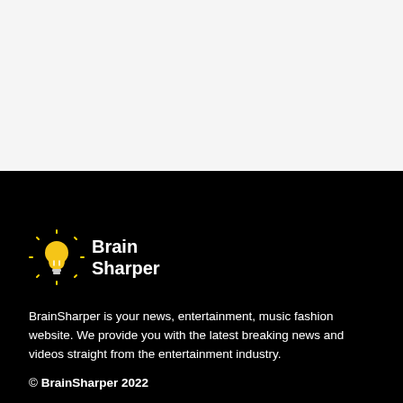[Figure (logo): BrainSharper logo with yellow lightbulb icon and white text 'Brain Sharper' on black background]
BrainSharper is your news, entertainment, music fashion website. We provide you with the latest breaking news and videos straight from the entertainment industry.
© BrainSharper 2022